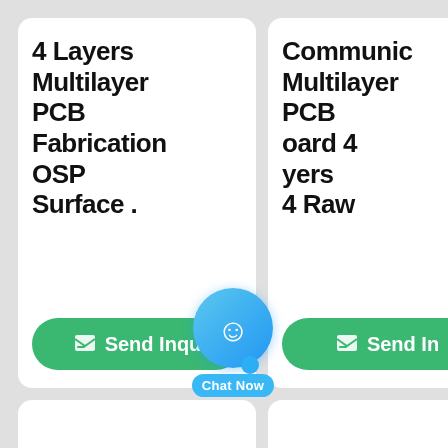4 Layers Multilayer PCB Fabrication OSP Surface
Communic Multilayer PCB Board 4 yers 4 Raw
[Figure (other): Chat Now button overlay with blue circular chat bubble icon and smiling face, with 'Chat Now' label below]
Send Inqu
Send In